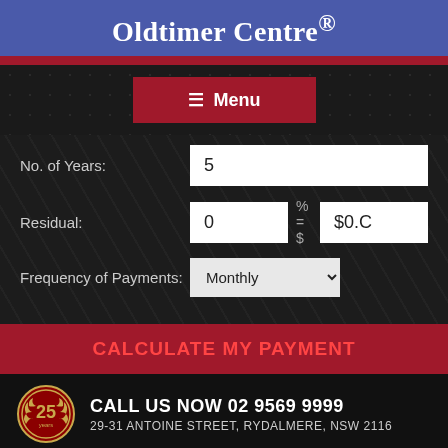Oldtimer Centre®
≡ Menu
No. of Years: 5
Residual: 0 % = $ $0.C
Frequency of Payments: Monthly
CALCULATE MY PAYMENT
CALL US NOW 02 9569 9999
29-31 ANTOINE STREET, RYDALMERE, NSW 2116